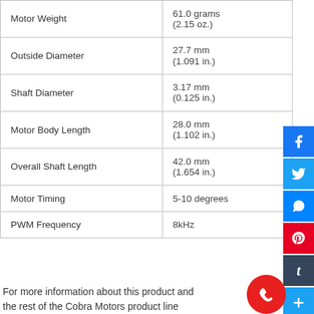| Property | Value |
| --- | --- |
| Motor Weight | 61.0 grams
(2.15 oz.) |
| Outside Diameter | 27.7 mm
(1.091 in.) |
| Shaft Diameter | 3.17 mm
(0.125 in.) |
| Motor Body Length | 28.0 mm
(1.102 in.) |
| Overall Shaft Length | 42.0 mm
(1.654 in.) |
| Motor Timing | 5-10 degrees |
| PWM Frequency | 8kHz |
For more information about this product and the rest of the Cobra Motors product line